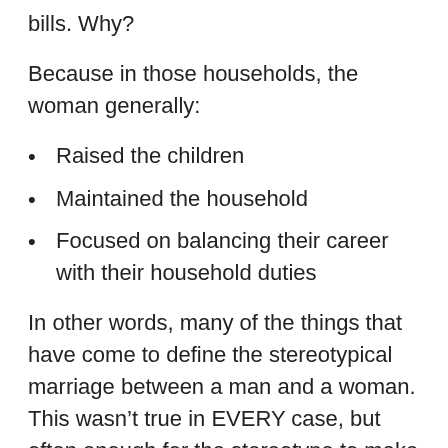bills. Why?
Because in those households, the woman generally:
Raised the children
Maintained the household
Focused on balancing their career with their household duties
In other words, many of the things that have come to define the stereotypical marriage between a man and a woman. This wasn't true in EVERY case, but often enough for the stereotype to make sense.